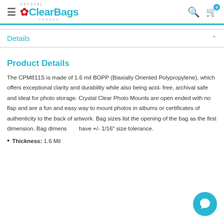Crystal ClearBags Canada
Details
Product Details
The CPM811S is made of 1.6 mil BOPP (Biaxially Oriented Polypropylene), which offers exceptional clarity and durability while also being acid- free, archival safe and ideal for photo storage. Crystal Clear Photo Mounts are open ended with no flap and are a fun and easy way to mount photos in albums or certificates of authenticity to the back of artwork. Bag sizes list the opening of the bag as the first dimension. Bag dimensions have +/- 1/16" size tolerance.
Thickness: 1.6 Mil